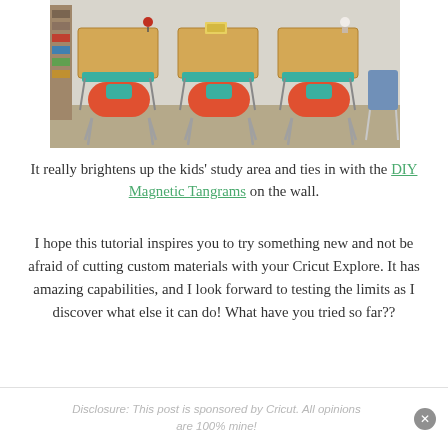[Figure (photo): Three orange and teal school chairs with attached wooden desks arranged in a row against a white wall on a beige carpet, with a bookshelf on the left and a decorative item on the right]
It really brightens up the kids' study area and ties in with the DIY Magnetic Tangrams on the wall.
I hope this tutorial inspires you to try something new and not be afraid of cutting custom materials with your Cricut Explore. It has amazing capabilities, and I look forward to testing the limits as I discover what else it can do! What have you tried so far??
Disclosure: This post is sponsored by Cricut. All opinions are 100% mine!